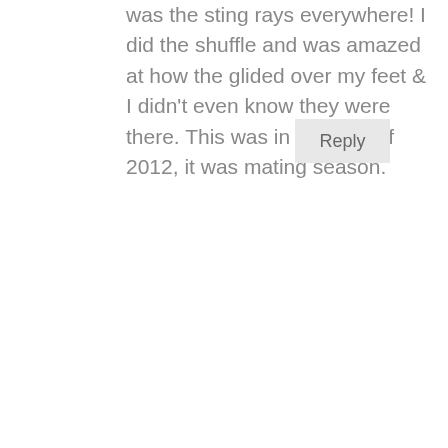was the sting rays everywhere! I did the shuffle and was amazed at how the glided over my feet & I didn't even know they were there. This was in October of 2012, it was mating season.
Reply